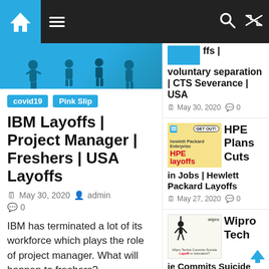Navigation bar with home, menu, search, shuffle icons
[Figure (illustration): Blue banner image with silhouette of people, partially cropped]
covid19  Pink Slip
IBM Layoffs | Project Manager | Freshers | USA Layoffs
May 30, 2020   admin   0
IBM has terminated a lot of its workforce which plays the role of project manager. What will happen to freshers?
ffs | voluntary separation | CTS Severance | USA
May 30, 2020   0
[Figure (illustration): HPE layoffs illustration with cartoon characters and GET OUT speech bubble, yellow background]
HPE Plans Cuts in Jobs | Hewlett Packard Layoffs
May 27, 2020   0
[Figure (illustration): Wipro Techie Commits Suicide - Layoff or relocation? image with silhouette and Wipro logo]
Wipro Techie Commits Suicide